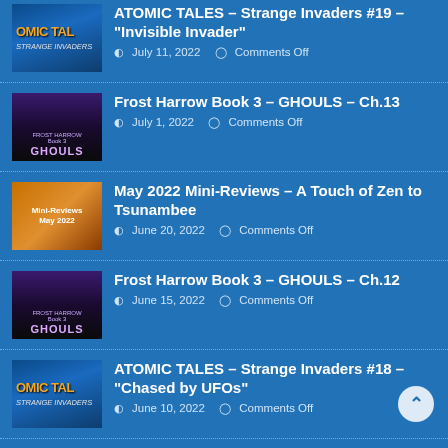ATOMIC TALES – Strange Invaders #19 – "Invisible Invader" | July 11, 2022 | Comments Off
Frost Harrow Book 3 – GHOULS – Ch.13 | July 1, 2022 | Comments Off
May 2022 Mini-Reviews – A Touch of Zen to Tsunambee | June 20, 2022 | Comments Off
Frost Harrow Book 3 – GHOULS – Ch.12 | June 15, 2022 | Comments Off
ATOMIC TALES – Strange Invaders #18 – "Chased by UFOs" | June 10, 2022 | Comments Off